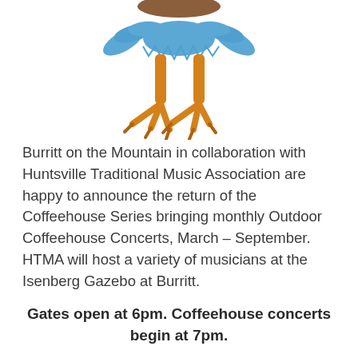[Figure (illustration): Cartoon bird character (turkey or roadrunner) showing only the lower body — legs and feet in orange, with blue feathers/ruffles at the waist, viewed from below against a white background.]
Burritt on the Mountain in collaboration with Huntsville Traditional Music Association are happy to announce the return of the Coffeehouse Series bringing monthly Outdoor Coffeehouse Concerts, March – September. HTMA will host a variety of musicians at the Isenberg Gazebo at Burritt.
Gates open at 6pm. Coffeehouse concerts begin at 7pm.